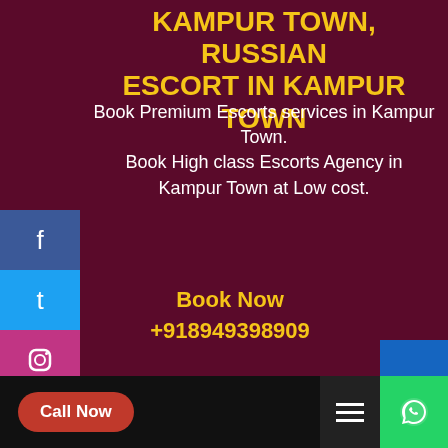KAMPUR TOWN, RUSSIAN ESCORT IN KAMPUR TOWN
Book Premium Escorts services in Kampur Town. Book High class Escorts Agency in Kampur Town at Low cost.
Book Now +918949398909
Call Now
ESCORT SERVICES IN KAMPUR TOWN, CALL GIRLS IN KAMPUR TOWN
Ananyaa singh
Anamika Pandey